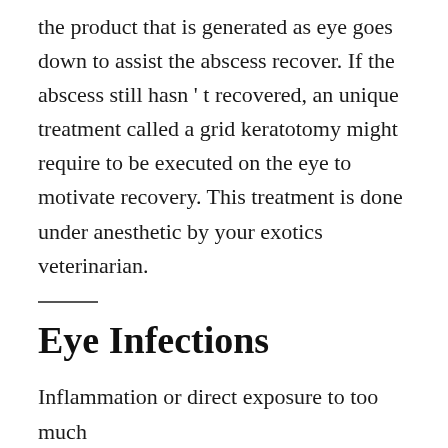the product that is generated as eye goes down to assist the abscess recover. If the abscess still hasn ' t recovered, an unique treatment called a grid keratotomy might require to be executed on the eye to motivate recovery. This treatment is done under anesthetic by your exotics veterinarian.
Eye Infections
Inflammation or direct exposure to too much